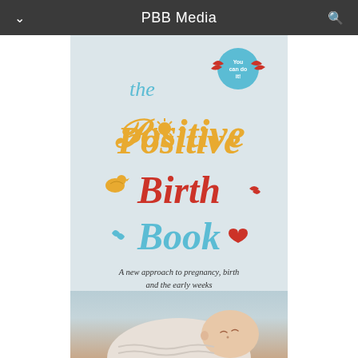PBB Media
[Figure (photo): Book cover of 'The Positive Birth Book' — a children's/parenting book cover with colorful illustrated text on a light blue-grey background. Title text reads 'the Positive Birth Book' with 'You can do it!' badge. Subtitle: 'A new approach to pregnancy, birth and the early weeks'. Bottom shows a sleeping newborn baby photo.]